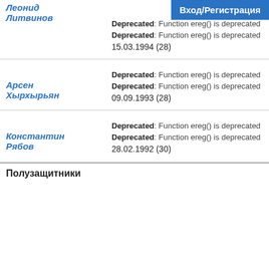Вход/Регистрация
Леонид Литвинов
Deprecated: Function ereg() is deprecated
Deprecated: Function ereg() is deprecated
15.03.1994 (28)
Арсен Хырхырьян
Deprecated: Function ereg() is deprecated
Deprecated: Function ereg() is deprecated
09.09.1993 (28)
Константин Рябов
Deprecated: Function ereg() is deprecated
Deprecated: Function ereg() is deprecated
28.02.1992 (30)
Полузащитники